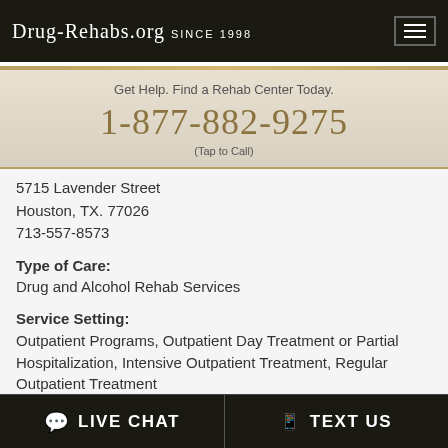Drug-Rehabs.org Since 1998
Get Help. Find a Rehab Center Today.
1-877-882-9275
(Tap to Call)
5715 Lavender Street
Houston, TX. 77026
713-557-8573
Type of Care:
Drug and Alcohol Rehab Services
Service Setting:
Outpatient Programs, Outpatient Day Treatment or Partial Hospitalization, Intensive Outpatient Treatment, Regular Outpatient Treatment
Treatment Approaches:
LIVE CHAT   TEXT US